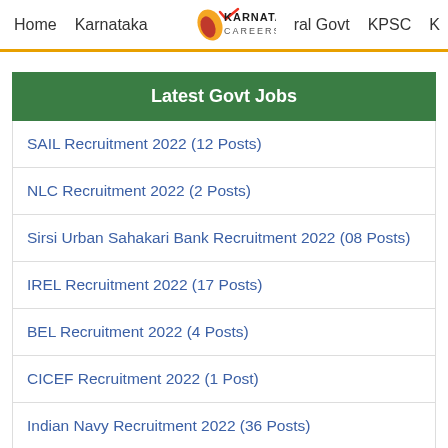Home   Karnataka   KARNATAKA CAREERS   ral Govt   KPSC   K
Latest Govt Jobs
SAIL Recruitment 2022 (12 Posts)
NLC Recruitment 2022 (2 Posts)
Sirsi Urban Sahakari Bank Recruitment 2022 (08 Posts)
IREL Recruitment 2022 (17 Posts)
BEL Recruitment 2022 (4 Posts)
CICEF Recruitment 2022 (1 Post)
Indian Navy Recruitment 2022 (36 Posts)
Karnataka High Court Recruitment 2022 (150 Posts)